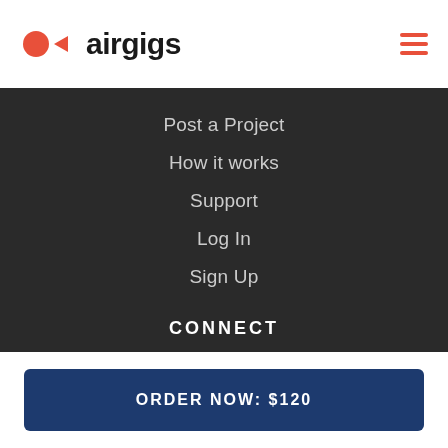airgigs
Post a Project
How it works
Support
Log In
Sign Up
CONNECT
[Figure (infographic): Six social media icon buttons (Facebook, Twitter, Instagram, Pinterest, YouTube, LinkedIn) displayed as purple circles with white icons]
ORDER NOW: $120